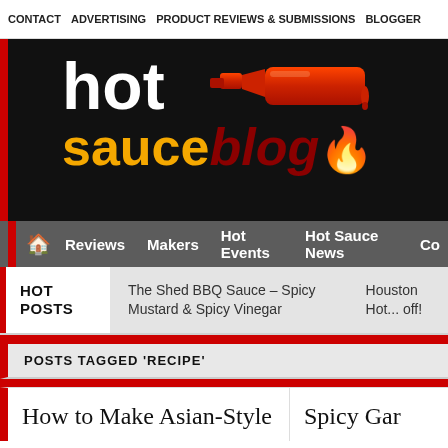CONTACT   ADVERTISING   PRODUCT REVIEWS & SUBMISSIONS   BLOGGER
[Figure (logo): Hot Sauce Blog logo — white 'hot' text, red hot sauce bottle graphic, yellow 'sauce' and dark red italic 'blog' text with flame emoji, on black background]
Reviews   Makers   Hot Events   Hot Sauce News   Co...
HOT POSTS
The Shed BBQ Sauce – Spicy Mustard & Spicy Vinegar
Houston Hot... off!
POSTS TAGGED 'RECIPE'
How to Make Asian-Style
Spicy Gar...